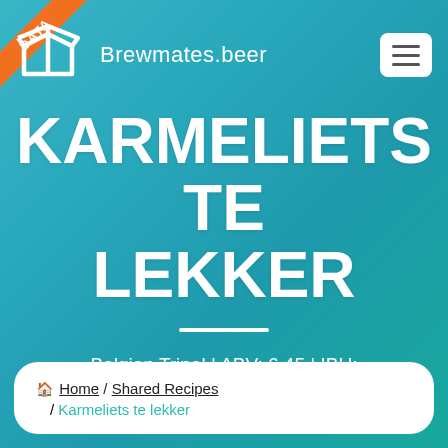Brewmates.beer
KARMELIETS TE LEKKER
Belgian Tripel | ABV: 6.45 | IBU: 28 | SRM: 7.00 | OG: 1.063 | FG: 1.016
🏠 Home / Shared Recipes / Karmeliets te lekker